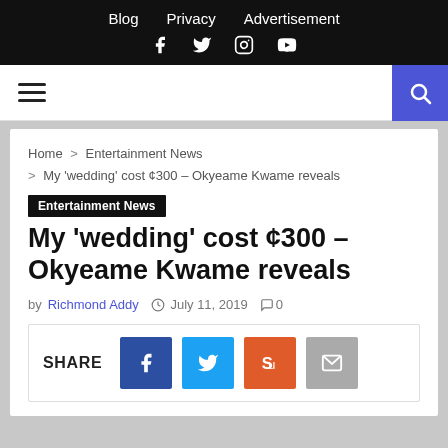Blog  Privacy  Advertisement
Social icons: f, twitter, instagram, youtube
Home > Entertainment News > My 'wedding' cost ¢300 – Okyeame Kwame reveals
Entertainment News
My 'wedding' cost ¢300 – Okyeame Kwame reveals
by Richmond Addy   July 11, 2019   0